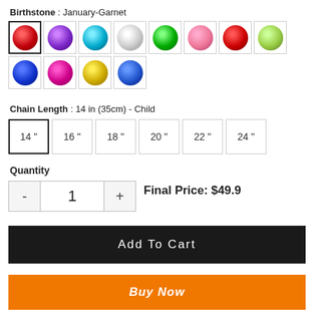Birthstone : January-Garnet
[Figure (other): Grid of 12 colorful gemstone circles in selection boxes. First row: red (selected), purple, teal, white/clear, green, pink, dark red, light green. Second row: dark blue, magenta, gold, sapphire blue.]
Chain Length : 14 in (35cm) - Child
[Figure (other): Row of 6 chain length selector boxes: 14" (selected), 16", 18", 20", 22", 24"]
Quantity
Final Price: $49.9
Add To Cart
Buy Now